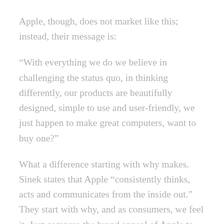Apple, though, does not market like this; instead, their message is:
“With everything we do we believe in challenging the status quo, in thinking differently, our products are beautifully designed, simple to use and user-friendly, we just happen to make great computers, want to buy one?”
What a difference starting with why makes. Sinek states that Apple “consistently thinks, acts and communicates from the inside out.” They start with why, and as consumers, we feel it. Just compare the brand appeal of Apple to someone like Dell, who also happens to make computers and other consumer